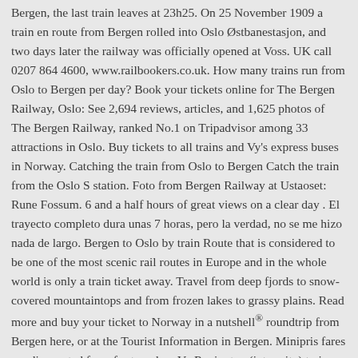Bergen, the last train leaves at 23h25. On 25 November 1909 a train en route from Bergen rolled into Oslo Østbanestasjon, and two days later the railway was officially opened at Voss. UK call 0207 864 4600, www.railbookers.co.uk. How many trains run from Oslo to Bergen per day? Book your tickets online for The Bergen Railway, Oslo: See 2,694 reviews, articles, and 1,625 photos of The Bergen Railway, ranked No.1 on Tripadvisor among 33 attractions in Oslo. Buy tickets to all trains and Vy's express buses in Norway. Catching the train from Oslo to Bergen Catch the train from the Oslo S station. Foto from Bergen Railway at Ustaoset: Rune Fossum. 6 and a half hours of great views on a clear day . El trayecto completo dura unas 7 horas, pero la verdad, no se me hizo nada de largo. Bergen to Oslo by train Route that is considered to be one of the most scenic rail routes in Europe and in the whole world is only a train ticket away. Travel from deep fjords to snow-covered mountaintops and from frozen lakes to grassy plains. Read more and buy your ticket to Norway in a nutshell® roundtrip from Bergen here, or at the Tourist Information in Bergen. Minipris fares are discounted fares for travel on Vy Regiontog (inter-city) trains. Tickets must be purchased no later than the day prior to travelling. Your "Vy E-ticket with Reservation" can be purchased right here. Add a trim to Flam on their rail section and you have the steepest and most scenic